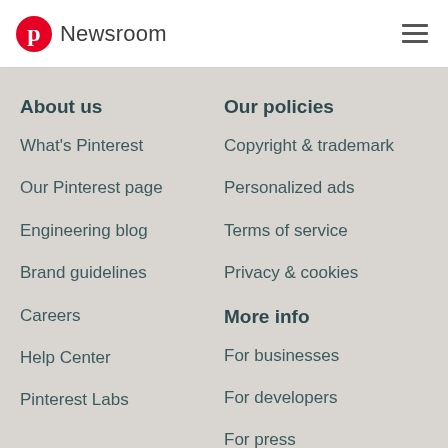Pinterest Newsroom
About us
What's Pinterest
Our Pinterest page
Engineering blog
Brand guidelines
Careers
Help Center
Pinterest Labs
Our policies
Copyright & trademark
Personalized ads
Terms of service
Privacy & cookies
More info
For businesses
For developers
For press